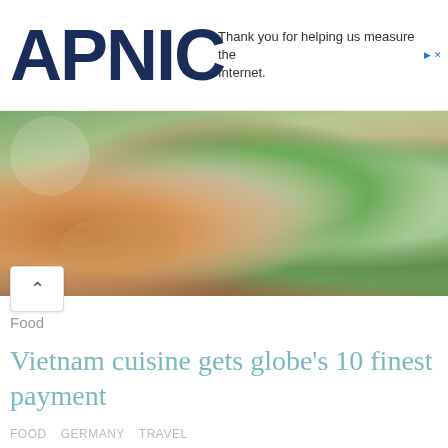APNIC — Thank you for helping us measure the Internet.
[Figure (photo): Close-up photo of Vietnamese spring rolls with dipping sauce, showing translucent rice paper rolls with shrimp and vegetables, alongside a bowl of brown dipping sauce]
Food
Vietnam cuisine gets globe's 10 finest payment
FOOD   GERMANY   TRAVEL
Vietnam, famous for its rice noodle soups and also various other rice-based recipes, has one of the world's 10 ideal cuisines, according to viewers of Canadian publication The Travel.Thailand and also the Philippines are the various other two Southeast Asian nations in the list. The other 7 countries are: